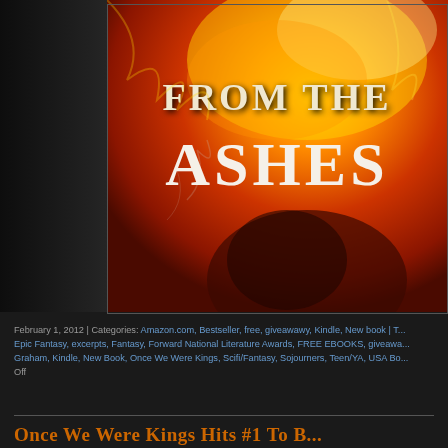[Figure (illustration): Book cover for 'From The Ashes' showing fiery orange and red background with dramatic title text. Left portion has dark gray textured panel. The cover features large serif font reading 'FROM THE' on top and 'ASHES' below, with a flame/fire visual effect and a shadowy figure.]
February 1, 2012 | Categories: Amazon.com, Bestseller, free, giveawawy, Kindle, New book | T... Epic Fantasy, excerpts, Fantasy, Forward National Literature Awards, FREE EBOOKS, giveawa... Graham, Kindle, New Book, Once We Were Kings, Scifi/Fantasy, Sojourners, Teen/YA, USA Bo... Off
Once We Were Kings Hits #1 To B...